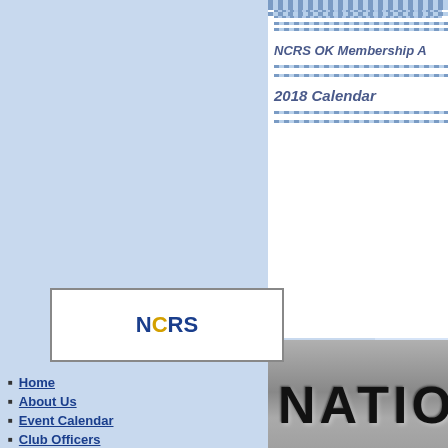[Figure (logo): NCRS logo with blue and yellow text on white background]
[Figure (illustration): Banner with 'NATIONAL COR' text in large metallic 3D style letters on gray gradient background]
Home
About Us
Event Calendar
Club Officers
Sponsors
Specialty Services
2020 Membership Form
September 2022 Side Pipe
August 2022 Side Pipe
July 2022 Side Pipe
ues
Local Car Events
Items For Sale
NCRS OK Membership A
2018 Calendar
August 2017 Sidepipe N
September 2017 Sidepipe
October 2017 Sidepipe N
November 2017 Sidepipe